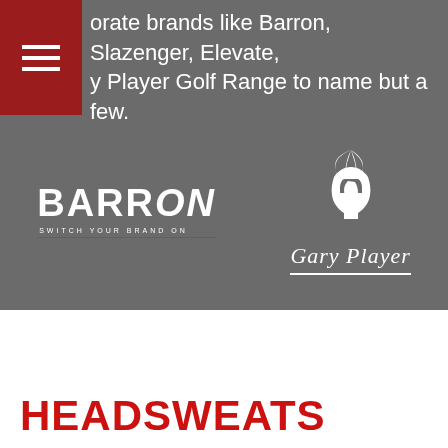orate brands like Barron, Slazenger, Elevate, y Player Golf Range to name but a few.
[Figure (logo): Barron logo with text 'BARRON SWITCH YOUR BRAND ON' and decorative underline]
[Figure (logo): Gary Player logo with Spartan helmet icon and italic 'Gary Player' text with underline]
HEADSWEATS